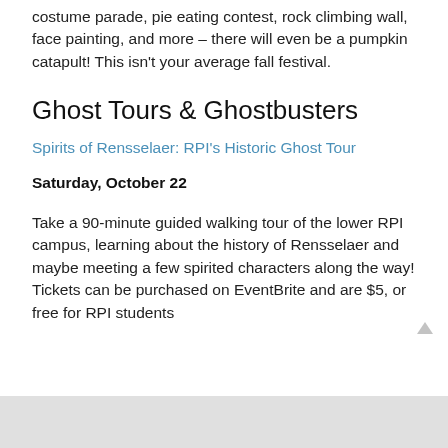costume parade, pie eating contest, rock climbing wall, face painting, and more – there will even be a pumpkin catapult! This isn't your average fall festival.
Ghost Tours & Ghostbusters
Spirits of Rensselaer: RPI's Historic Ghost Tour
Saturday, October 22
Take a 90-minute guided walking tour of the lower RPI campus, learning about the history of Rensselaer and maybe meeting a few spirited characters along the way! Tickets can be purchased on EventBrite and are $5, or free for RPI students